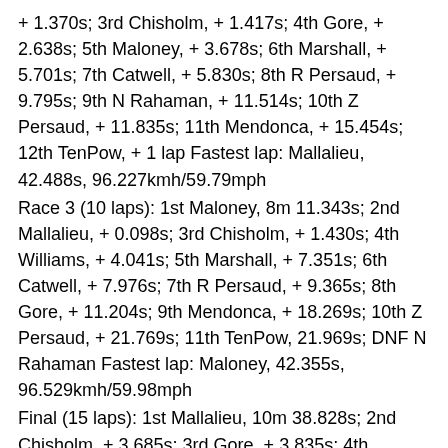+ 1.370s; 3rd Chisholm, + 1.417s; 4th Gore, + 2.638s; 5th Maloney, + 3.678s; 6th Marshall, + 5.701s; 7th Catwell, + 5.830s; 8th R Persaud, + 9.795s; 9th N Rahaman, + 11.514s; 10th Z Persaud, + 11.835s; 11th Mendonca, + 15.454s; 12th TenPow, + 1 lap Fastest lap: Mallalieu, 42.488s, 96.227kmh/59.79mph
Race 3 (10 laps): 1st Maloney, 8m 11.343s; 2nd Mallalieu, + 0.098s; 3rd Chisholm, + 1.430s; 4th Williams, + 4.041s; 5th Marshall, + 7.351s; 6th Catwell, + 7.976s; 7th R Persaud, + 9.365s; 8th Gore, + 11.204s; 9th Mendonca, + 18.269s; 10th Z Persaud, + 21.769s; 11th TenPow, 21.969s; DNF N Rahaman Fastest lap: Maloney, 42.355s, 96.529kmh/59.98mph
Final (15 laps): 1st Mallalieu, 10m 38.828s; 2nd Chisholm, + 3.685s; 3rd Gore, + 3.835s; 4th Maloney, + 4.973s; 5th Williams, + 9.455s; 6th R Persaud, + 13.395s; 7th Catwell, + 13.581s; 8th TenPow, + 22.138s; 9th Z Persaud, + 24.242s; 10th N Rahaman, + 34.011s; 11th Marshall, + 40.578s; DNF Mendonca Fastest lap: Mallalieu, 42.228s,